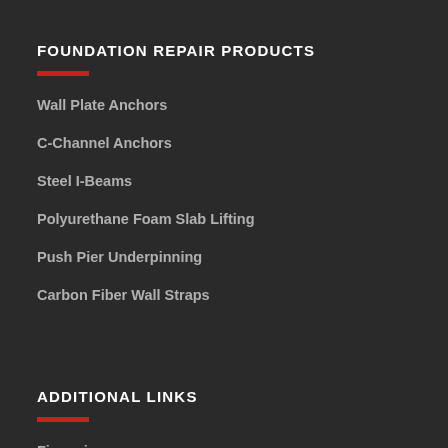FOUNDATION REPAIR PRODUCTS
Wall Plate Anchors
C-Channel Anchors
Steel I-Beams
Polyurethane Foam Slab Lifting
Push Pier Underpinning
Carbon Fiber Wall Straps
ADDITIONAL LINKS
Financing
Blog